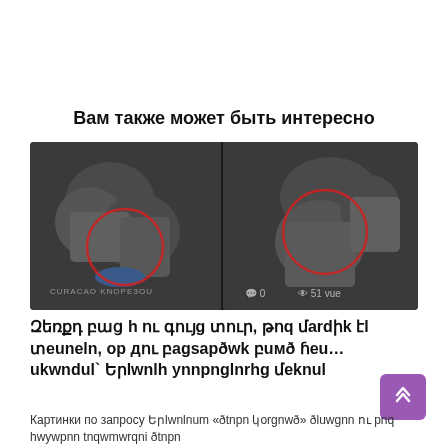Вам также может быть интересно
[Figure (photo): Two side-by-side photos showing people crouching/sitting on the ground, with red circles highlighting areas of interest. Watermark text in Armenian visible on left photo. Right photo shows view count: 0 comments, 51 views.]
Զեռքդ բաց h ու գույg տուր, թոق մardիk էl տeuneln, oр дու բagsарðwk բuмð ɦeu…ukwndul` Երlwnlh ynnpnglnrhg մeknul
Картинки по запросу Երlwnlnum «ðtnpn կorgnwð» ðluwgnn ու pnq hwywpnn tnqwmwrqni ðtnpn